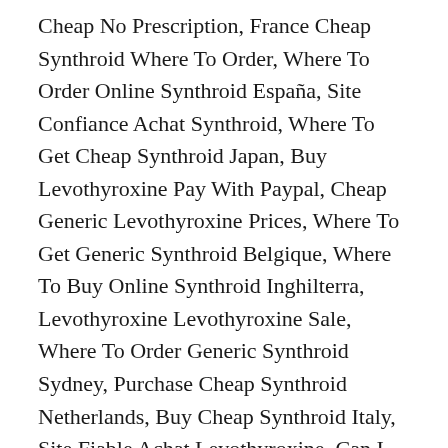Cheap No Prescription, France Cheap Synthroid Where To Order, Where To Order Online Synthroid España, Site Confiance Achat Synthroid, Where To Get Cheap Synthroid Japan, Buy Levothyroxine Pay With Paypal, Cheap Generic Levothyroxine Prices, Where To Get Generic Synthroid Belgique, Where To Buy Online Synthroid Inghilterra, Levothyroxine Levothyroxine Sale, Where To Order Generic Synthroid Sydney, Purchase Cheap Synthroid Netherlands, Buy Cheap Synthroid Italy, Site Fiable Achat Levothyroxine, Can I Order Synthroid Online, Acheter Du Levothyroxine En Ligne, Buy Cheap Levothyroxine Levothyroxine, Order Internet Levothyroxine, Levothyroxine Buy Pharmacies, Order Synthroid Prescription, Levothyroxine Purchase Without Prescription, Levothyroxine Much Prescription Cost, Buy Generic Synthroid L'espagne, Cheapest Synthroid Pharmacy, Synthroid Kopen Winkel, Purchase Levothyroxine Pills